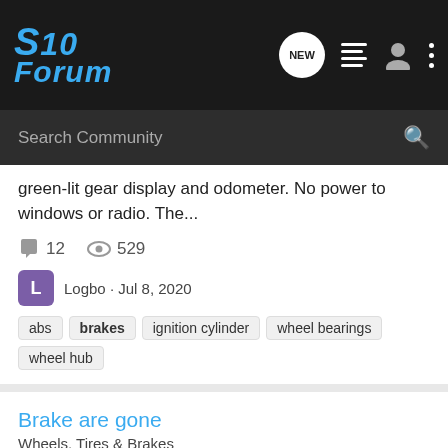S10 Forum
Search Community
green-lit gear display and odometer. No power to windows or radio. The...
12   529
Logbo · Jul 8, 2020
abs  brakes  ignition cylinder  wheel bearings  wheel hub
Brake are gone
Wheels, Tires & Brakes
1985 2.8 v6. durango rwd. Started her up.. release ebrake.. warning light stayed on. Didn't think much of it until I put it in reverse and had no brakes and no ebrake. I am guessing that the something busted in the ebrake assembly and that I have a leak in a brake hose. does anyone have a...